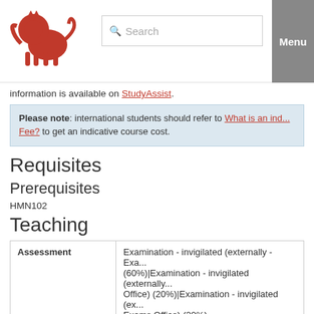Search | Menu
information is available on StudyAssist.
Please note: international students should refer to What is an ind... Fee? to get an indicative course cost.
Requisites
Prerequisites
HMN102
Teaching
| Assessment | Timetable |
| --- | --- |
| Assessment | Examination - invigilated (externally - Exa... (60%)|Examination - invigilated (externally... Office) (20%)|Examination - invigilated (ex... Exams Office) (20%) |
| Timetable | View the lecture timetable | View the full c... timetable |